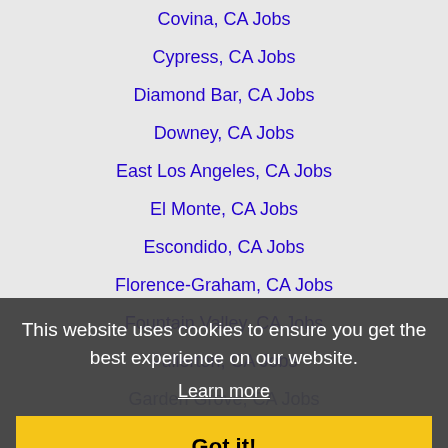Covina, CA Jobs
Cypress, CA Jobs
Diamond Bar, CA Jobs
Downey, CA Jobs
East Los Angeles, CA Jobs
El Monte, CA Jobs
Escondido, CA Jobs
Florence-Graham, CA Jobs
Fountain Valley, CA Jobs
Fullerton, CA Jobs
Garden Grove, CA Jobs
Gardena, CA Jobs
Glendale, CA Jobs
Glendora, CA Jobs
Hacienda Heights, CA Jobs
Hawthorne, CA Jobs
Hemet, CA Jobs
Highland, CA Jobs
This website uses cookies to ensure you get the best experience on our website.
Learn more
Got it!